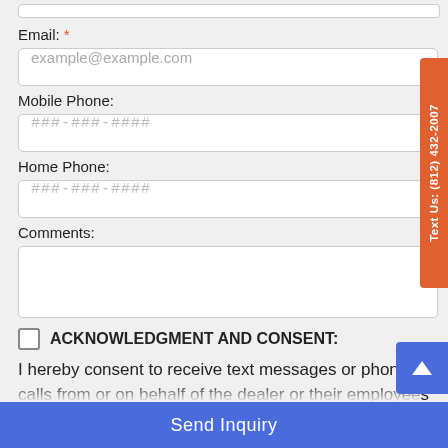Email: *
example@example.com
Mobile Phone:
###-###-####
Home Phone:
###-###-####
Comments:
ACKNOWLEDGMENT AND CONSENT:
I hereby consent to receive text messages or phone calls from or on behalf of the dealer or their employees to the mobile phone number I provided above. By opting in, I understand that message and data rates may apply. This acknowledgement constitutes my written consent to receive text
Send Inquiry